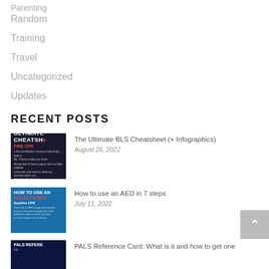Parenting
Random
Training
Travel
Uncategorized
Updates
RECENT POSTS
[Figure (photo): BLS Cheatsheet thumbnail with dark background, text 'ULTIMATE CHEATSHEET FIRE CPR']
The Ultimate BLS Cheatsheet (+ Infographics)
August 26, 2022
[Figure (photo): AED in 7 Steps thumbnail with blue background]
How to use an AED in 7 steps
July 11, 2022
[Figure (photo): PALS Reference Card thumbnail with dark blue background]
PALS Reference Card: What is it and how to get one